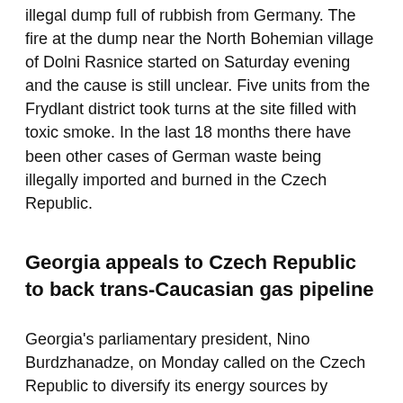illegal dump full of rubbish from Germany. The fire at the dump near the North Bohemian village of Dolni Rasnice started on Saturday evening and the cause is still unclear. Five units from the Frydlant district took turns at the site filled with toxic smoke. In the last 18 months there have been other cases of German waste being illegally imported and burned in the Czech Republic.
Georgia appeals to Czech Republic to back trans-Caucasian gas pipeline
Georgia's parliamentary president, Nino Burdzhanadze, on Monday called on the Czech Republic to diversify its energy sources by backing a trans-Caucasian gas pipeline that would avoid transiting Russia. Speaking at a news conference at the Prague headquarters of Radio